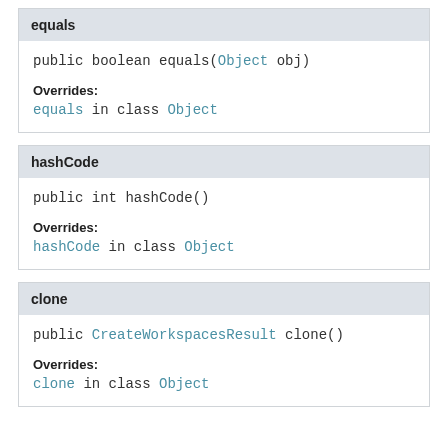equals
public boolean equals(Object obj)
Overrides:
equals in class Object
hashCode
public int hashCode()
Overrides:
hashCode in class Object
clone
public CreateWorkspacesResult clone()
Overrides:
clone in class Object